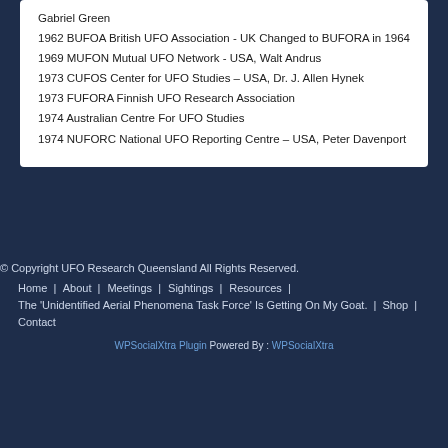Gabriel Green
1962 BUFOA British UFO Association - UK Changed to BUFORA in 1964
1969 MUFON Mutual UFO Network - USA, Walt Andrus
1973 CUFOS Center for UFO Studies – USA, Dr. J. Allen Hynek
1973 FUFORA Finnish UFO Research Association
1974 Australian Centre For UFO Studies
1974 NUFORC National UFO Reporting Centre – USA, Peter Davenport
© Copyright UFO Research Queensland All Rights Reserved.
Home | About | Meetings | Sightings | Resources |
The 'Unidentified Aerial Phenomena Task Force' Is Getting On My Goat. | Shop |
Contact
Powered By :